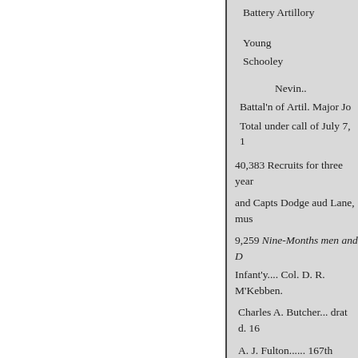Battery Artillory
Young
Schooley
Nevin..
Battal'n of Artil. Major Jo
Total under call of July 7, 1
40,383 Recruits for three year
and Capts Dodge aud Lane, mus
9,259 Nine-Months men and D
Infant'y.... Col. D. R. M'Kebben.
Charles A. Butcher... drat d. 16
A. J. Fulton...... 167th
C. A. Knoderer..... 16Sth
Joseph Jack...... 169th
L. W. Smith.... 171st
E. Bierer..... 172d
C. Cleckner... 1730
D. Nagle.... 174th